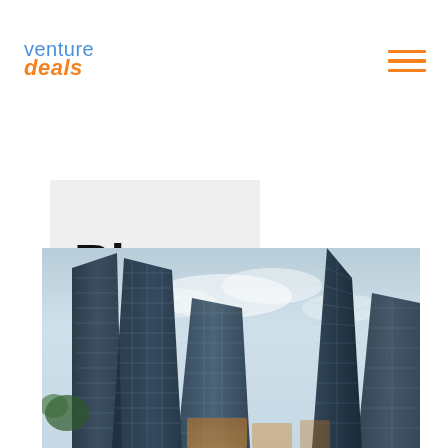venture deals
Blog
[Figure (photo): Low-angle view of modern glass skyscrapers against a cloudy sky, dark blue and steel toned buildings photographed from below looking upward]